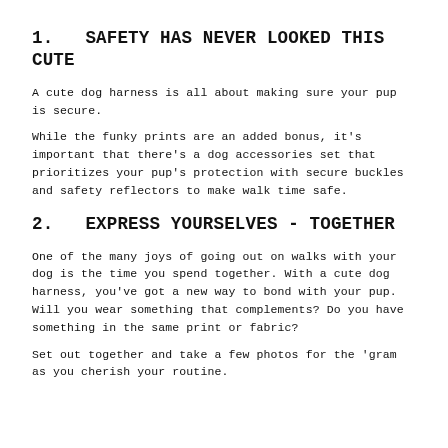1.   SAFETY HAS NEVER LOOKED THIS CUTE
A cute dog harness is all about making sure your pup is secure.
While the funky prints are an added bonus, it's important that there's a dog accessories set that prioritizes your pup's protection with secure buckles and safety reflectors to make walk time safe.
2.   EXPRESS YOURSELVES - TOGETHER
One of the many joys of going out on walks with your dog is the time you spend together. With a cute dog harness, you've got a new way to bond with your pup. Will you wear something that complements? Do you have something in the same print or fabric?
Set out together and take a few photos for the 'gram as you cherish your routine.